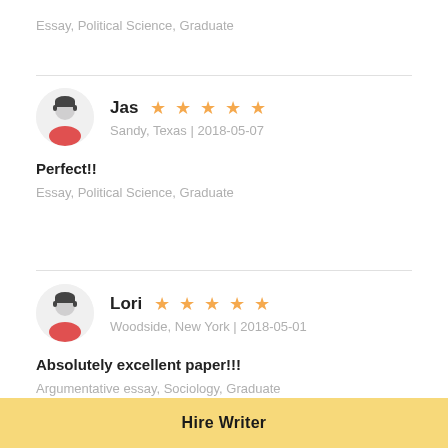Essay, Political Science, Graduate
Jas ★★★★★
Sandy, Texas | 2018-05-07
Perfect!!
Essay, Political Science, Graduate
Lori ★★★★★
Woodside, New York | 2018-05-01
Absolutely excellent paper!!!
Argumentative essay, Sociology, Graduate
Hire Writer